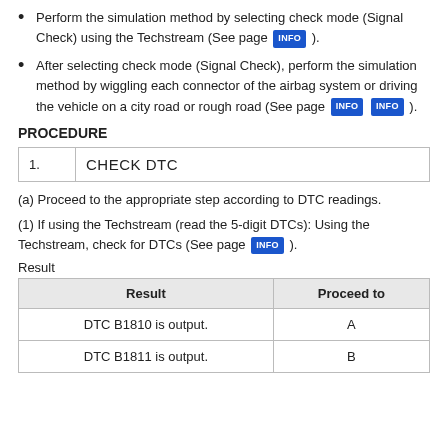Perform the simulation method by selecting check mode (Signal Check) using the Techstream (See page [INFO] ).
After selecting check mode (Signal Check), perform the simulation method by wiggling each connector of the airbag system or driving the vehicle on a city road or rough road (See page [INFO] [INFO] ).
PROCEDURE
| 1. | CHECK DTC |
(a) Proceed to the appropriate step according to DTC readings.
(1) If using the Techstream (read the 5-digit DTCs): Using the Techstream, check for DTCs (See page [INFO] ).
Result
| Result | Proceed to |
| --- | --- |
| DTC B1810 is output. | A |
| DTC B1811 is output. | B |